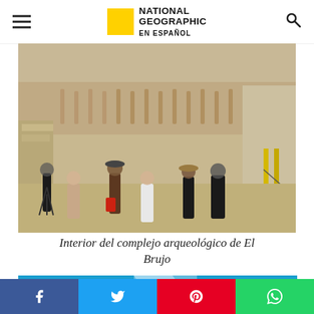NATIONAL GEOGRAPHIC EN ESPAÑOL
[Figure (photo): Interior del complejo arqueológico de El Brujo — group of tourists and photographers standing in front of large adobe mud brick wall with relief carvings, at an ancient Peruvian archaeological site.]
Interior del complejo arqueológico de El Brujo